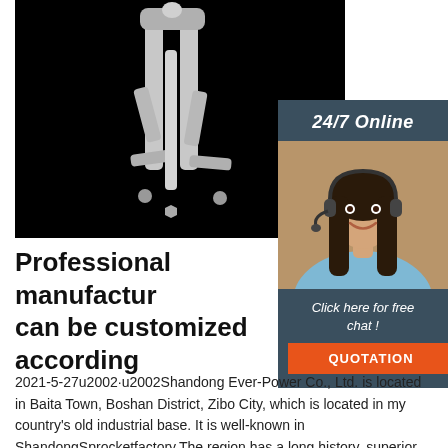[Figure (photo): A metal tool (appears to be a chain breaker or industrial clamp tool) with silver metallic finish photographed against a black background.]
[Figure (photo): A smiling female customer service agent wearing a headset, with dark hair, wearing a light blue shirt, overlaid on a dark slate blue sidebar panel with text '24/7 Online', 'Click here for free chat!' and an orange QUOTATION button.]
Professional manufacture can be customized according
2021-5-27u2002·u2002Shandong Ever-Power Co., Ltd. is located in Baita Town, Boshan District, Zibo City, which is located in my country's old industrial base. It is well-known in ShandongSprocketfactory.The region has a long history, superior geographical location and